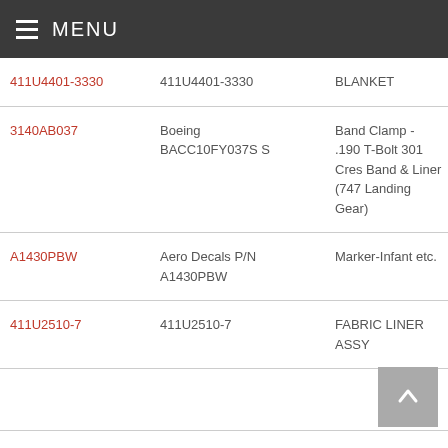MENU
| Part Number | Manufacturer P/N | Description |  |
| --- | --- | --- | --- |
| 411U4401-3330 | 411U4401-3330 | BLANKET | S |
| 3140AB037 | Boeing BACC10FY037S S | Band Clamp - .190 T-Bolt 301 Cres Band & Liner (747 Landing Gear) | B - |
| A1430PBW | Aero Decals P/N A1430PBW | Marker-Infant etc. | B |
| 411U2510-7 | 411U2510-7 | FABRIC LINER ASSY | B |
|  |  |  | B 7 |